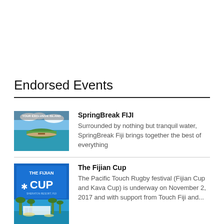Endorsed Events
[Figure (photo): Aerial view of a tropical island surrounded by turquoise water, with text overlay 'YOUR EXCLUSIVE ISLAND']
SpringBreak FIJI
Surrounded by nothing but tranquil water, SpringBreak Fiji brings together the best of everything
[Figure (photo): The Fijian Cup promotional image showing resort with palm trees and blue text logo 'THE FIJIAN CUP - SHERATON RESORT, FIJI']
The Fijian Cup
The Pacific Touch Rugby festival (Fijian Cup and Kava Cup) is underway on November 2, 2017 and with support from Touch Fiji and...
[Figure (photo): Rock Island Vanuatu - partial image at bottom of page]
Rock Island VANUATU